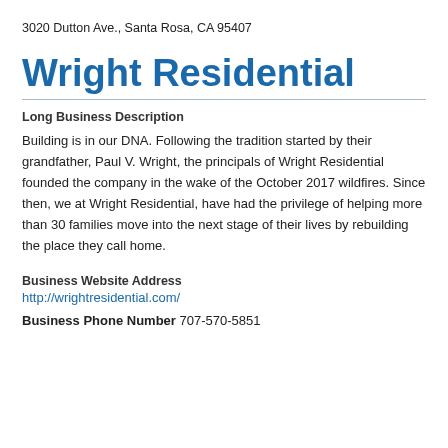3020 Dutton Ave., Santa Rosa, CA 95407
Wright Residential
Long Business Description
Building is in our DNA. Following the tradition started by their grandfather, Paul V. Wright, the principals of Wright Residential founded the company in the wake of the October 2017 wildfires. Since then, we at Wright Residential, have had the privilege of helping more than 30 families move into the next stage of their lives by rebuilding the place they call home.
Business Website Address
http://wrightresidential.com/
Business Phone Number 707-570-5851